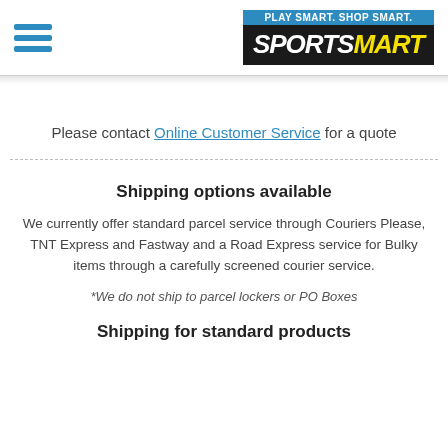[Figure (logo): SportsMart logo with hamburger menu icon. Blue tagline banner reading PLAY SMART. SHOP SMART. above black background with SPORTS in white italic bold and MART in yellow italic bold.]
Please contact Online Customer Service for a quote
Shipping options available
We currently offer standard parcel service through Couriers Please, TNT Express and Fastway and a Road Express service for Bulky items through a carefully screened courier service.
*We do not ship to parcel lockers or PO Boxes
Shipping for standard products